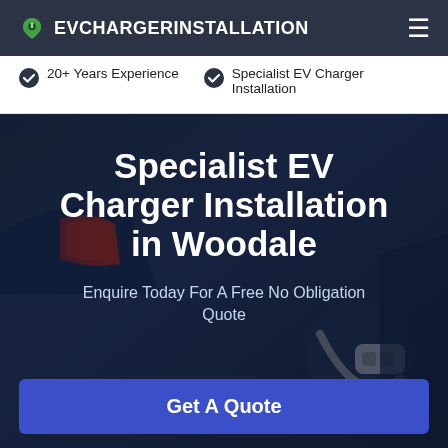EVCHARGERINSTALLATION
20+ Years Experience
Specialist EV Charger Installation
Specialist EV Charger Installation in Woodale
Enquire Today For A Free No Obligation Quote
Get A Quote